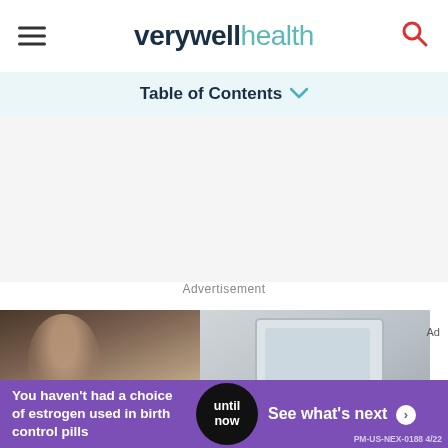verywell health
Table of Contents
Advertisement
[Figure (photo): Person looking at a tablet device, blurred background]
Ad
You haven't had a choice of estrogen used in birth control pills — until now — See what's next PM-US-NEX-0188 4/22